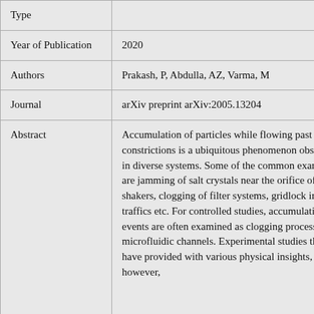| Field | Value |
| --- | --- |
| Type |  |
| Year of Publication | 2020 |
| Authors | Prakash, P, Abdulla, AZ, Varma, M |
| Journal | arXiv preprint arXiv:2005.13204 |
| Abstract | Accumulation of particles while flowing past constrictions is a ubiquitous phenomenon observed in diverse systems. Some of the common examples are jamming of salt crystals near the orifice of salt shakers, clogging of filter systems, gridlock in traffics etc. For controlled studies, accumulation events are often examined as clogging process in microfluidic channels. Experimental studies thus far have provided with various physical insights, however, |